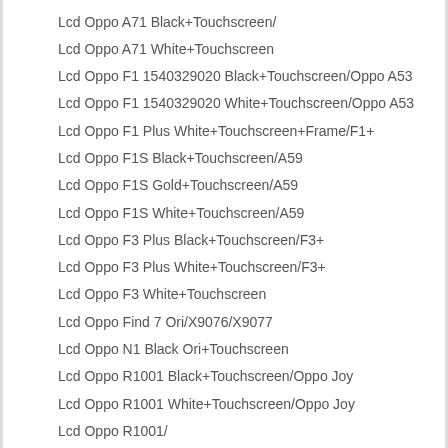Lcd Oppo A71 Black+Touchscreen/
Lcd Oppo A71 White+Touchscreen
Lcd Oppo F1 1540329020 Black+Touchscreen/Oppo A53
Lcd Oppo F1 1540329020 White+Touchscreen/Oppo A53
Lcd Oppo F1 Plus White+Touchscreen+Frame/F1+
Lcd Oppo F1S Black+Touchscreen/A59
Lcd Oppo F1S Gold+Touchscreen/A59
Lcd Oppo F1S White+Touchscreen/A59
Lcd Oppo F3 Plus Black+Touchscreen/F3+
Lcd Oppo F3 Plus White+Touchscreen/F3+
Lcd Oppo F3 White+Touchscreen
Lcd Oppo Find 7 Ori/X9076/X9077
Lcd Oppo N1 Black Ori+Touchscreen
Lcd Oppo R1001 Black+Touchscreen/Oppo Joy
Lcd Oppo R1001 White+Touchscreen/Oppo Joy
Lcd Oppo R1001/
Lcd Oppo R1201 Black+Touchscreen/A31/Neo 5
Lcd Oppo R1201 White+Touchscreen/A31/Neo 5
Lcd Oppo R2001 5K0669 Black+Touchscreen/Yoyo
Lcd Oppo R2001 5K0669 White+Touchscreen/Yoyo
Lcd Oppo R3001 Black+Touchscreen/Mirror 3